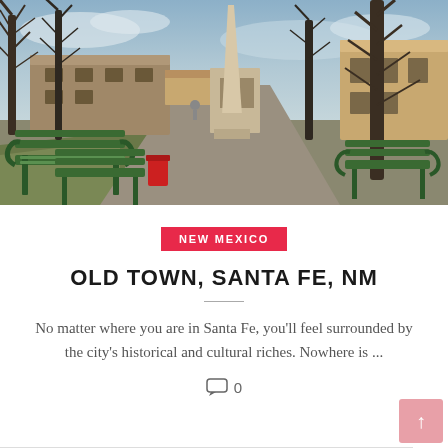[Figure (photo): Outdoor photo of Old Town Santa Fe plaza with green iron benches in foreground, a tall obelisk monument in center, bare trees, paved path, red trash can, and historic buildings in the background under a cloudy sky.]
NEW MEXICO
OLD TOWN, SANTA FE, NM
No matter where you are in Santa Fe, you'll feel surrounded by the city's historical and cultural riches. Nowhere is ...
0